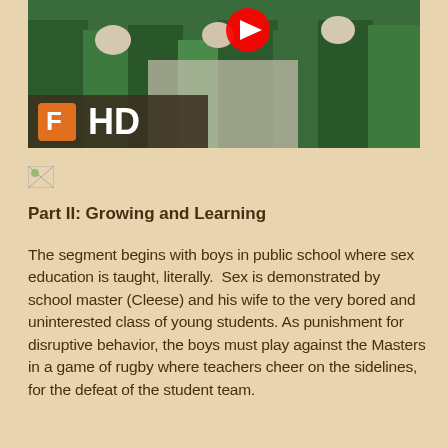[Figure (screenshot): Video thumbnail showing people in surgical green scrubs in what appears to be an operating room setting, with a YouTube play button visible at top and an 'F HD' badge overlay at bottom left]
[Figure (photo): Small broken/placeholder image icon]
Part II: Growing and Learning
The segment begins with boys in public school where sex education is taught, literally.  Sex is demonstrated by school master (Cleese) and his wife to the very bored and uninterested class of young students. As punishment for disruptive behavior, the boys must play against the Masters in a game of rugby where teachers cheer on the sidelines, for the defeat of the student team.